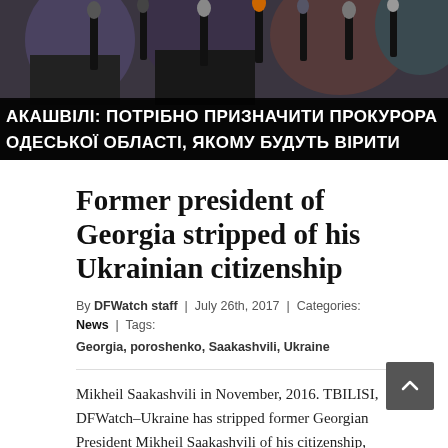[Figure (photo): Press conference scene with multiple microphones and people in background; Ukrainian Cyrillic banner text overlay at bottom reading: АКАШВІЛІ: ПОТРІБНО ПРИЗНАЧИТИ ПРОКУРОРА ОДЕСЬКОЇ ОБЛАСТІ, ЯКОМУ БУДУТЬ ВІРИТИ]
Former president of Georgia stripped of his Ukrainian citizenship
By DFWatch staff | July 26th, 2017 | Categories: News | Tags: Georgia, poroshenko, Saakashvili, Ukraine
Mikheil Saakashvili in November, 2016. TBILISI, DFWatch–Ukraine has stripped former Georgian President Mikheil Saakashvili of his citizenship, shortly after a visit to Georgia by Ukraine's President Petro Poroshenko. A Ukrainian member of parliament after speaking to Facebook, and d...